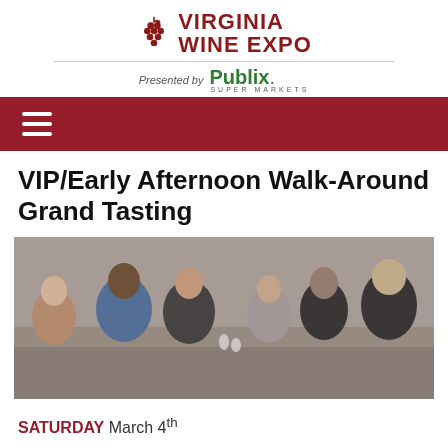VIRGINIA WINE EXPO Presented by Publix SUPER MARKETS
VIP/Early Afternoon Walk-Around Grand Tasting
[Figure (photo): Crowd of people at an indoor wine tasting event, holding wine glasses and conversing]
SATURDAY March 4th